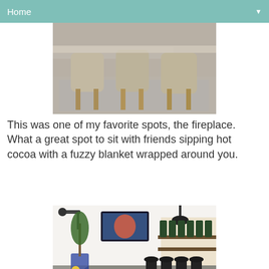Home
[Figure (photo): Interior dining area with beige upholstered chairs with gold legs around a table, on a patterned area rug over concrete flooring]
This was one of my favorite spots, the fireplace.  What a great spot to sit with friends sipping hot cocoa with a fuzzy blanket wrapped around you.
[Figure (photo): Interior space with a wall-mounted TV, industrial pendant light, bar stools, shelving with products, and a potted tree with flowers]